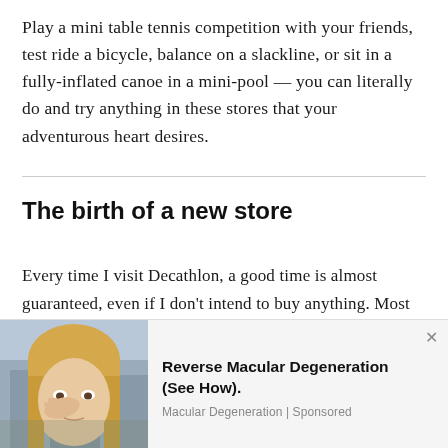Play a mini table tennis competition with your friends, test ride a bicycle, balance on a slackline, or sit in a fully-inflated canoe in a mini-pool — you can literally do and try anything in these stores that your adventurous heart desires.
The birth of a new store
Every time I visit Decathlon, a good time is almost guaranteed, even if I don't intend to buy anything. Most of the time though, I usually leave with something in the shopping cart because of their
[Figure (photo): Advertisement banner showing a blonde woman appearing distressed, with text 'Reverse Macular Degeneration (See How).' and attribution 'Macular Degeneration | Sponsored']